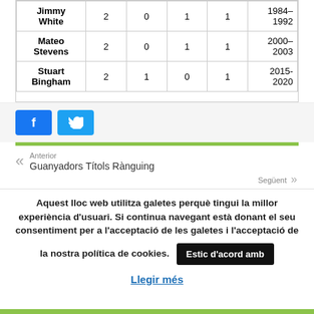| Player |  |  |  |  | Years |
| --- | --- | --- | --- | --- | --- |
| Jimmy White | 2 | 0 | 1 | 1 | 1984–1992 |
| Mateo Stevens | 2 | 0 | 1 | 1 | 2000–2003 |
| Stuart Bingham | 2 | 1 | 0 | 1 | 2015-2020 |
[Figure (other): Facebook and Twitter social share buttons]
Anterior
Guanyadors Títols Rànguing
Següent
Aquest lloc web utilitza galetes perquè tingui la millor experiència d'usuari. Si continua navegant està donant el seu consentiment per a l'acceptació de les galetes i l'acceptació de la nostra política de cookies.
Estic d'acord amb
Llegir més